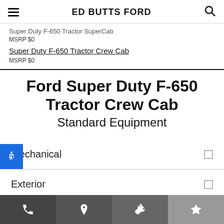ED BUTTS FORD
Super Duty F-650 Tractor SuperCab
MSRP $0
Super Duty F-650 Tractor Crew Cab
MSRP $0
Ford Super Duty F-650 Tractor Crew Cab
Standard Equipment
Mechanical
Exterior
Phone | Map | Wrench | Star